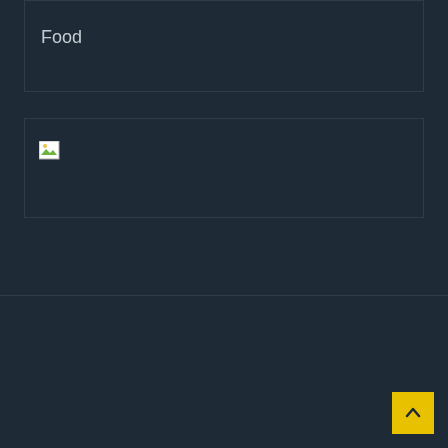Food
[Figure (photo): Broken image placeholder with small icon]
Categories
» ALTERNATIVES
» BEST MUSIC